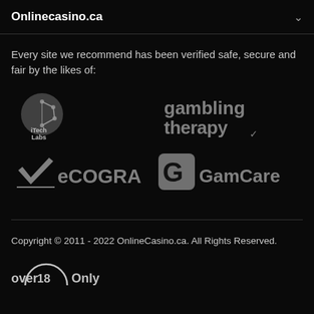Onlinecasino.ca
Every site we recommend has been verified safe, secure and fair by the likes of:
[Figure (logo): iTech Labs logo - circular icon with circuit lines and text iTech Labs]
[Figure (logo): Gambling Therapy logo - grey text reading gambling therapy]
[Figure (logo): eCOGRA logo - checkmark with eCOGRA text in grey]
[Figure (logo): GamCare logo - G icon with GamCare text in grey]
Copyright © 2011 - 2022 OnlineCasino.ca. All Rights Reserved.
[Figure (logo): Over 18 Only logo - partial circular badge at bottom]